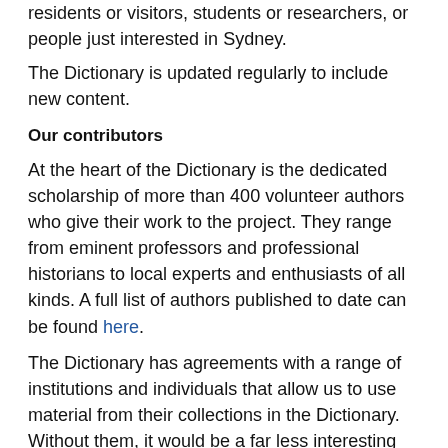residents or visitors, students or researchers, or people just interested in Sydney.
The Dictionary is updated regularly to include new content.
Our contributors
At the heart of the Dictionary is the dedicated scholarship of more than 400 volunteer authors who give their work to the project. They range from eminent professors and professional historians to local experts and enthusiasts of all kinds. A full list of authors published to date can be found here.
The Dictionary has agreements with a range of institutions and individuals that allow us to use material from their collections in the Dictionary. Without them, it would be a far less interesting and exciting project. A full list of these institutions and collections can be found here.
Our organisation
Conceived in 2004, the Dictionary of Sydney grew out of an Australian Research Council project supported by the University of Sydney in partnership with University of Technology, Sydney (UTS), State Library of New South